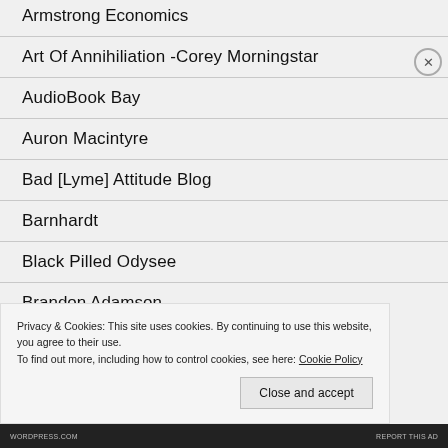Armstrong Economics
Art Of Annihiliation -Corey Morningstar
AudioBook Bay
Auron Macintyre
Bad [Lyme] Attitude Blog
Barnhardt
Black Pilled Odysee
Brandon Adamson
Privacy & Cookies: This site uses cookies. By continuing to use this website, you agree to their use.
To find out more, including how to control cookies, see here: Cookie Policy
Close and accept